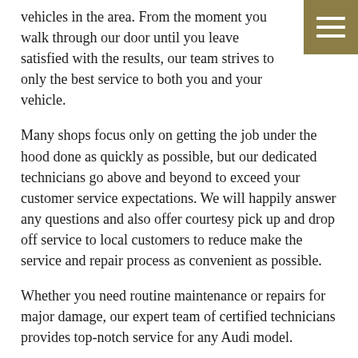vehicles in the area. From the moment you walk through our door until you leave satisfied with the results, our team strives to only the best service to both you and your vehicle.
Many shops focus only on getting the job under the hood done as quickly as possible, but our dedicated technicians go above and beyond to exceed your customer service expectations. We will happily answer any questions and also offer courtesy pick up and drop off service to local customers to reduce make the service and repair process as convenient as possible.
Whether you need routine maintenance or repairs for major damage, our expert team of certified technicians provides top-notch service for any Audi model.
Put our service to the test by calling our shop or stopping in to schedule your service appointment today!